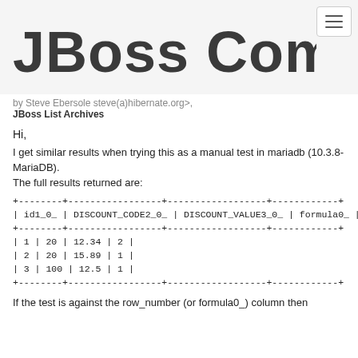[Figure (logo): JBoss Community logo in bold dark text]
by Steve Ebersole   steve(a)hibernate.org&gt;,
JBoss List Archives
Hi,
I get similar results when trying this as a manual test in mariadb (10.3.8-MariaDB).
The full results returned are:
+--------+-----------------+------------------+------------+
| id1_0_ | DISCOUNT_CODE2_0_ | DISCOUNT_VALUE3_0_ | formula0_ |
+--------+-----------------+------------------+------------+
| 1 | 20 | 12.34 | 2 |
| 2 | 20 | 15.89 | 1 |
| 3 | 100 | 12.5 | 1 |
+--------+-----------------+------------------+------------+
If the test is against the row_number (or formula0_) column then